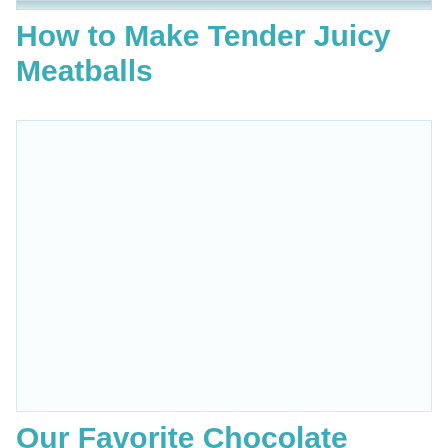[Figure (photo): Top portion of a food photo, partially visible at top of page]
How to Make Tender Juicy Meatballs
[Figure (photo): Large image placeholder box, mostly white/empty]
Our Favorite Chocolate Cupcakes